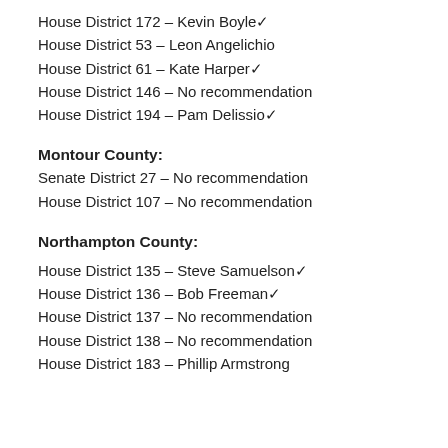House District 172 – Kevin Boyle✓
House District 53 – Leon Angelichio
House District 61 – Kate Harper✓
House District 146 – No recommendation
House District 194 – Pam Delissio✓
Montour County:
Senate District 27 – No recommendation
House District 107 – No recommendation
Northampton County:
House District 135 – Steve Samuelson✓
House District 136 – Bob Freeman✓
House District 137 – No recommendation
House District 138 – No recommendation
House District 183 – Phillip Armstrong